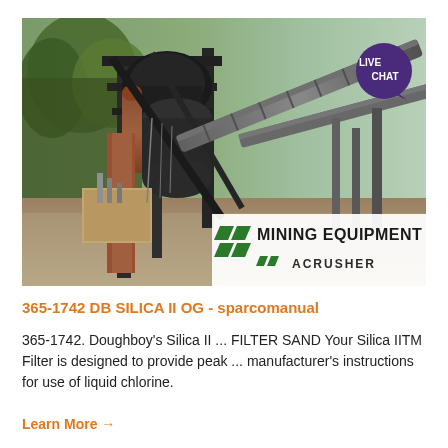[Figure (photo): Industrial mining equipment / crusher machinery at an outdoor site with conveyor belts, rusty metal structures, trees in background. Mining Equipment ACRUSHER logo overlay in bottom right.]
365-1742 DB SILICA II OG - sparcomanual
365-1742. Doughboy's Silica II ... FILTER SAND Your Silica IITM Filter is designed to provide peak ... manufacturer's instructions for use of liquid chlorine.
Learn More →